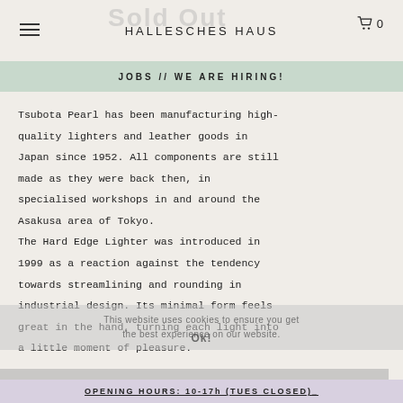HALLESCHES HAUS
JOBS // WE ARE HIRING!
Tsubota Pearl has been manufacturing high-quality lighters and leather goods in Japan since 1952. All components are still made as they were back then, in specialised workshops in and around the Asakusa area of Tokyo. The Hard Edge Lighter was introduced in 1999 as a reaction against the tendency towards streamlining and rounding in industrial design. Its minimal form feels great in the hand, turning each light into a little moment of pleasure.
Polycarbonate, Steel and Cotton
Made in Japan
60 x 35 x 15mm
OPENING HOURS: 10-17h (TUES CLOSED)_